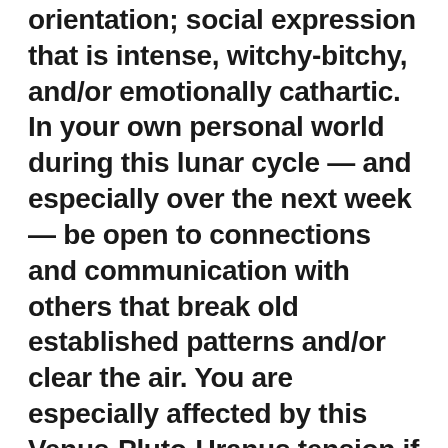orientation; social expression that is intense, witchy-bitchy, and/or emotionally cathartic. In your own personal world during this lunar cycle — and especially over the next week — be open to connections and communication with others that break old established patterns and/or clear the air. You are especially affected by this Venus-Pluto-Uranus tension if you were born between the 24th and 31st of December, March, June and September...or if you have a planet between 4 and 10 degrees of Aries, Cancer, Libra or Capricorn.
I will write another post later for the rest of the weekend and a recap of recent news I simply must point out as being perfectly in synch with